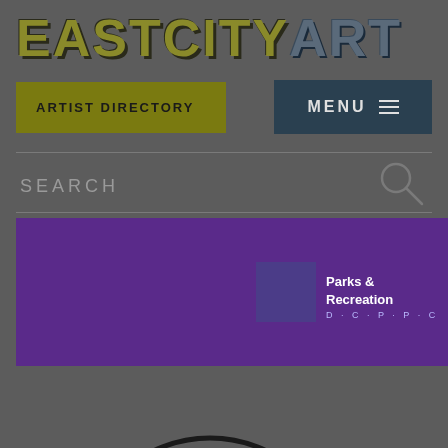EASTCITYART
ARTIST DIRECTORY
MENU
SEARCH
[Figure (logo): Parks & Recreation logo banner with purple diagonal background]
[Figure (logo): Discover Graphics circular logo with letter d in center]